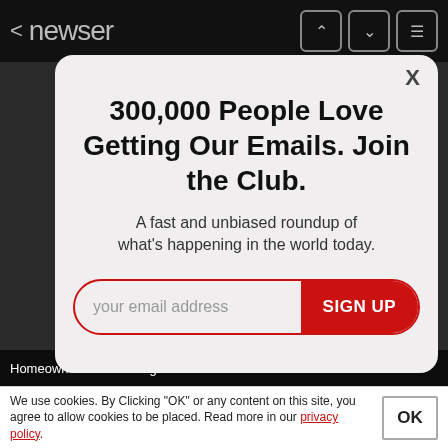< newser
300,000 People Love Getting Our Emails. Join the Club.
A fast and unbiased roundup of what's happening in the world today.
your email address  SIGN UP
Homeowners Are Trading In Their Doorbell Cams for This.
We use cookies. By Clicking "OK" or any content on this site, you agree to allow cookies to be placed. Read more in our privacy policy.